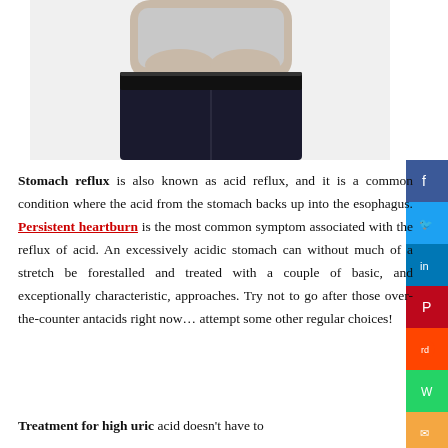[Figure (photo): A person holding their stomach/abdomen area, wearing a grey shirt and dark jeans, photographed from mid-torso down.]
Stomach reflux is also known as acid reflux, and it is a common condition where the acid from the stomach backs up into the esophagus. Persistent heartburn is the most common symptom associated with the reflux of acid. An excessively acidic stomach can without much of a stretch be forestalled and treated with a couple of basic, and exceptionally characteristic, approaches. Try not to go after those over-the-counter antacids right now… attempt some other regular choices!
Treatment for high uric acid doesn't have to